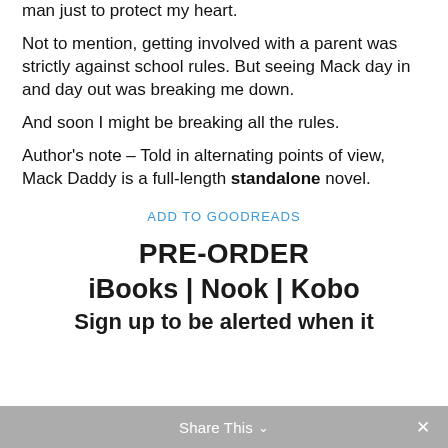man just to protect my heart.
Not to mention, getting involved with a parent was strictly against school rules. But seeing Mack day in and day out was breaking me down.
And soon I might be breaking all the rules.
Author's note – Told in alternating points of view, Mack Daddy is a full-length standalone novel.
ADD TO GOODREADS
PRE-ORDER
iBooks | Nook | Kobo
Sign up to be alerted when it
Share This  ×